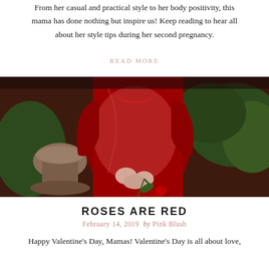From her casual and practical style to her body positivity, this mama has done nothing but inspire us! Keep reading to hear all about her style tips during her second pregnancy.
READ MORE
[Figure (photo): Pregnant woman in a red dress holding a red rose, standing outdoors near a stone fountain with greenery in the background.]
ROSES ARE RED
February 14, 2019  by  Pink Blush
Happy Valentine's Day, Mamas! Valentine's Day is all about love,